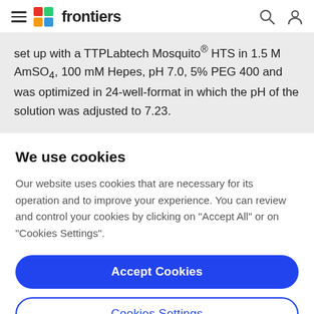frontiers
set up with a TTPLabtech Mosquito® HTS in 1.5 M AmSO4, 100 mM Hepes, pH 7.0, 5% PEG 400 and was optimized in 24-well-format in which the pH of the solution was adjusted to 7.23.
We use cookies
Our website uses cookies that are necessary for its operation and to improve your experience. You can review and control your cookies by clicking on "Accept All" or on "Cookies Settings".
Accept Cookies
Cookies Settings